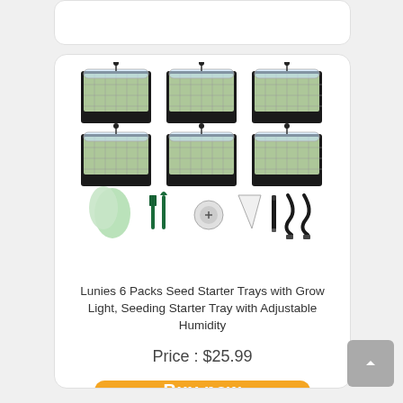[Figure (photo): Product photo of Lunies 6 Packs Seed Starter Trays with Grow Light showing 6 seed trays with clear domes and LED grow lights arranged in a 2x3 grid, plus accessories including gloves, garden tools, filter bags, pen, and USB cable below.]
Lunies 6 Packs Seed Starter Trays with Grow Light, Seeding Starter Tray with Adjustable Humidity
Price : $25.99
Buy now